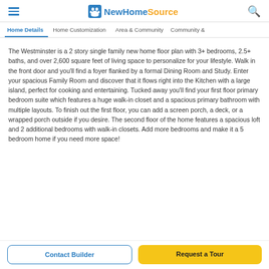NewHomeSource
Home Details | Home Customization | Area & Community | Community &
The Westminster is a 2 story single family new home floor plan with 3+ bedrooms, 2.5+ baths, and over 2,600 square feet of living space to personalize for your lifestyle. Walk in the front door and you'll find a foyer flanked by a formal Dining Room and Study. Enter your spacious Family Room and discover that it flows right into the Kitchen with a large island, perfect for cooking and entertaining. Tucked away you'll find your first floor primary bedroom suite which features a huge walk-in closet and a spacious primary bathroom with multiple layouts. To finish out the first floor, you can add a screen porch, a deck, or a wrapped porch outside if you desire. The second floor of the home features a spacious loft and 2 additional bedrooms with walk-in closets. Add more bedrooms and make it a 5 bedroom home if you need more space!
Contact Builder
Request a Tour